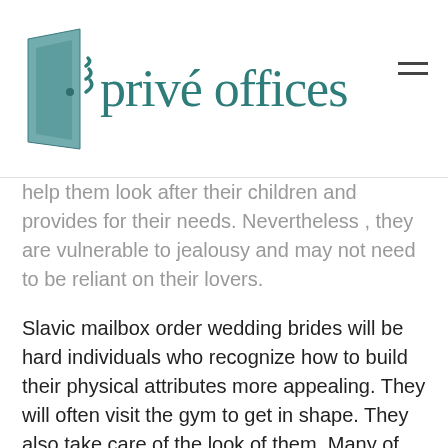privé offices
help them look after their children and provides for their needs. Nevertheless , they are vulnerable to jealousy and may not need to be reliant on their lovers.
Slavic mailbox order wedding brides will be hard individuals who recognize how to build their physical attributes more appealing. They will often visit the gym to get in shape. They also take care of the look of them. Many of them is going to spend time in a salon, and that they know how to don makeup and keep themselves amazing. It's no surprise that Slavic mail purchase brides have a reputation for being sexy and beautiful.